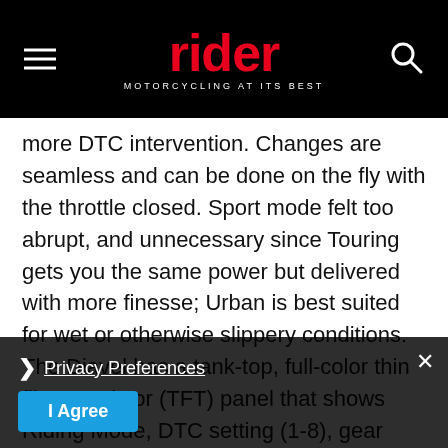rider — MOTORCYCLING AT ITS BEST
more DTC intervention. Changes are seamless and can be done on the fly with the throttle closed. Sport mode felt too abrupt, and unnecessary since Touring gets you the same power but delivered with more finesse; Urban is best suited for wet or otherwise slippery conditions. The Diavel has a tank-top, full-color thin film transistor (TFT) panel that shows Riding Mode, DTC setting (1-8), gear selection, odometer/trip and computer functions. In the usual location, below a bank of indicator lights, an LCD display in... temperature and a horizontal tacho... On the Euro-spec production bikes we rode, fueling was precise...